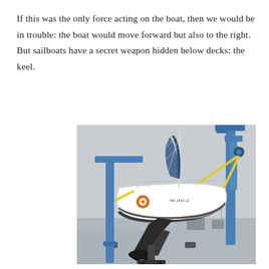If this was the only force acting on the boat, then we would be in trouble: the boat would move forward but also to the right. But sailboats have a secret weapon hidden below decks: the keel.
[Figure (photo): A sailboat lifted out of the water on a travel lift/crane at a marina, showing its keel prominently extending below the hull. The boat is white with blue sails furled. A blue metal crane structure is visible to the right. Other boats and marina structures are visible in the background.]